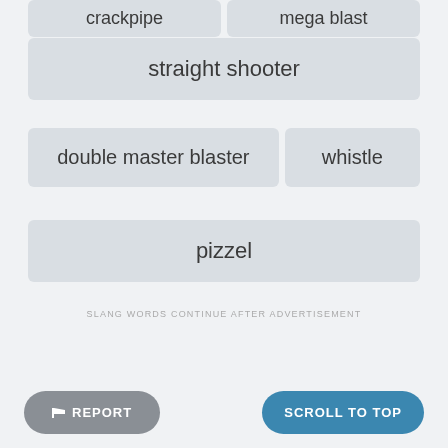crackpipe
mega blast
straight shooter
double master blaster
whistle
pizzel
SLANG WORDS CONTINUE AFTER ADVERTISEMENT